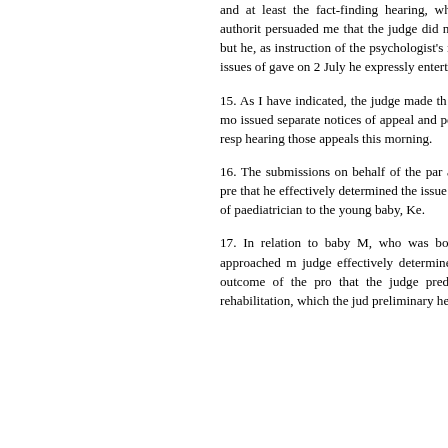and at least the fact-finding hearing, wh November. Counsel for the local authorit persuaded me that the judge did not inten without any formal limit to it, but he, as instruction of the psychologist's report in specific advice to the court on issues of gave on 2 July he expressly entertained available.
15. As I have indicated, the judge made th and it is against that decision that the mo issued separate notices of appeal and perm by Black LJ on 20 July and 27 July resp hearing those appeals this morning.
16. The submissions on behalf of the par argument is that the judge was acting pre that he effectively determined the issue of basis of his view of the seriousness of paediatrician to the young baby, Ke.
17. In relation to baby M, who was born af had been observed, the judge approached m judge effectively determined the issue fo wrong to look to the outcome of the pro that the judge predicted would follow the prospect of rehabilitation, which the jud preliminary hearing.